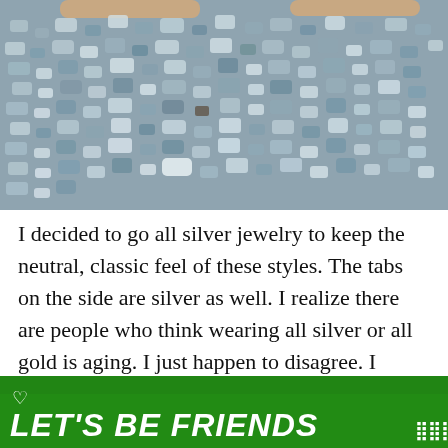[Figure (photo): Close-up photo of crushed gravel/stone aggregate in gray-blue tones, with two shoe edges/sandals visible at the very top of the frame]
I decided to go all silver jewelry to keep the neutral, classic feel of these styles.  The tabs on the side are silver as well.  I realize there are people who think wearing all silver or all gold is aging.  I just happen to disagree.  I believe it has more to do with the style of the garments than with the matching jewelry.  I will e[...] th[...] [cut off by ad banner]
[Figure (screenshot): Green advertisement banner at bottom reading 'LET'S BE FRIENDS' with a dog photo and heart icon, with a close button X]